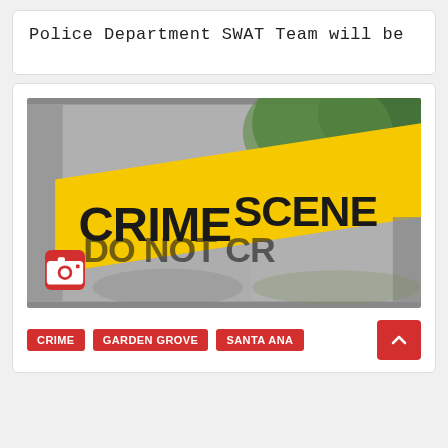Police Department SWAT Team will be
[Figure (photo): Crime scene do not cross yellow police tape in close-up, blurred green foliage in background. Red camera icon badge overlaid at bottom-left.]
CRIME   GARDEN GROVE   SANTA ANA